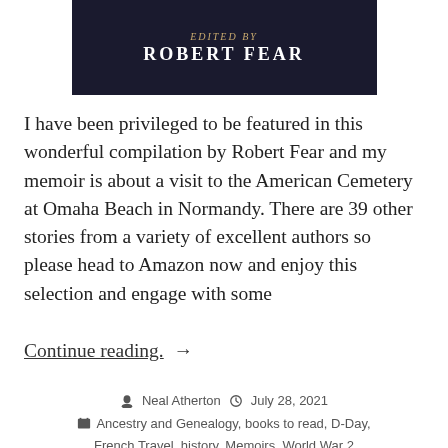[Figure (photo): Book cover showing 'EDITED BY ROBERT FEAR' text on a dark background]
I have been privileged to be featured in this wonderful compilation by Robert Fear and my memoir is about a visit to the American Cemetery at Omaha Beach in Normandy. There are 39 other stories from a variety of excellent authors so please head to Amazon now and enjoy this selection and engage with some
Continue reading.  →
Neal Atherton   July 28, 2021
Ancestry and Genealogy, books to read, D-Day, French Travel, history, Memoirs, World War 2
allied landings, Brittany and Normandy, D-Day, inspirational, Memoirs, omaha, ww2
Leave a comment